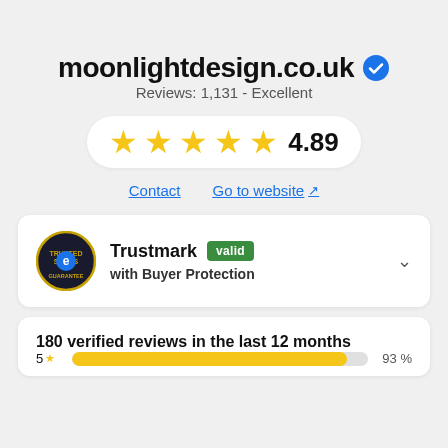moonlightdesign.co.uk
Reviews: 1,131 - Excellent
[Figure (infographic): Five yellow stars rating display with score 4.89]
Contact    Go to website
[Figure (infographic): Trusted Shops e-logo seal with Trustmark valid badge and Buyer Protection text]
180 verified reviews in the last 12 months
5★   93%